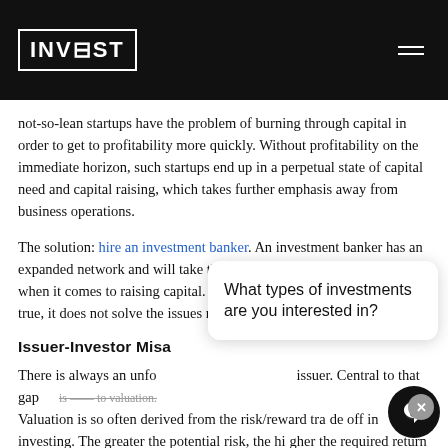INVEST
not-so-lean startups have the problem of burning through capital in order to get to profitability more quickly. Without profitability on the immediate horizon, such startups end up in a perpetual state of capital need and capital raising, which takes further emphasis away from business operations.
The solution: hire an investment banker. An investment banker has an expanded network and will take the full-time job away from my plate when it comes to raising capital. At least that is the logic. While this is true, it does not solve the issues related to timing of capital need.
Issuer-Investor Misa
There is always an unfo issuer. Central to that gap is —— to valuation. Valuation is so often derived from the risk/reward trade off in investing. The greater the potential risk, the higher the required return on the side of the investor. Unfortunately, there is often a misalignment not only on